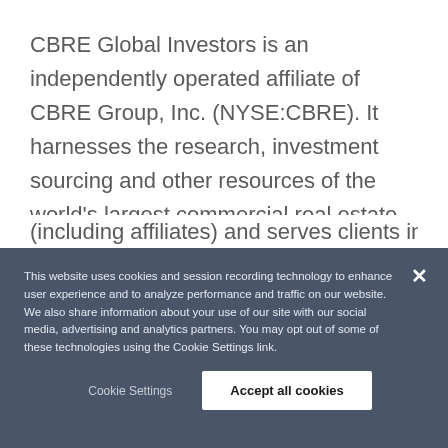CBRE Global Investors is an independently operated affiliate of CBRE Group, Inc. (NYSE:CBRE). It harnesses the research, investment sourcing and other resources of the world's largest commercial real estate services and investment firm (based on 2018 revenue) for the benefit of its investors. CBRE Group, Inc. has more than 90,000 employees (including affiliates) and serves clients in...
This website uses cookies and session recording technology to enhance user experience and to analyze performance and traffic on our website. We also share information about your use of our site with our social media, advertising and analytics partners. You may opt out of some of these technologies using the Cookie Settings link.